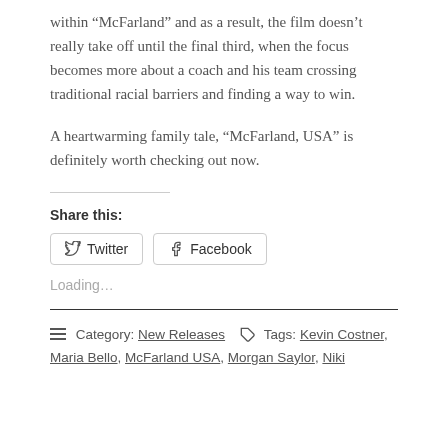within “McFarland” and as a result, the film doesn’t really take off until the final third, when the focus becomes more about a coach and his team crossing traditional racial barriers and finding a way to win.
A heartwarming family tale, “McFarland, USA” is definitely worth checking out now.
Share this:
Twitter  Facebook
Loading…
≡ Category: New Releases  🏷 Tags: Kevin Costner, Maria Bello, McFarland USA, Morgan Saylor, Niki